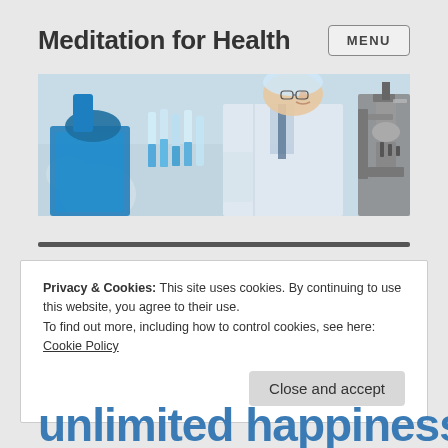Meditation for Health
[Figure (photo): Scientist in white lab coat working with blue liquid test tubes and a microscope in a laboratory setting]
Privacy & Cookies: This site uses cookies. By continuing to use this website, you agree to their use.
To find out more, including how to control cookies, see here:
Cookie Policy
Close and accept
unlimited happiness